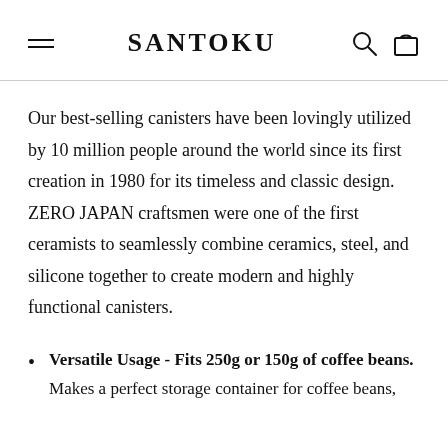SANTOKU
Our best-selling canisters have been lovingly utilized by 10 million people around the world since its first creation in 1980 for its timeless and classic design. ZERO JAPAN craftsmen were one of the first ceramists to seamlessly combine ceramics, steel, and silicone together to create modern and highly functional canisters.
Versatile Usage - Fits 250g or 150g of coffee beans. Makes a perfect storage container for coffee beans,